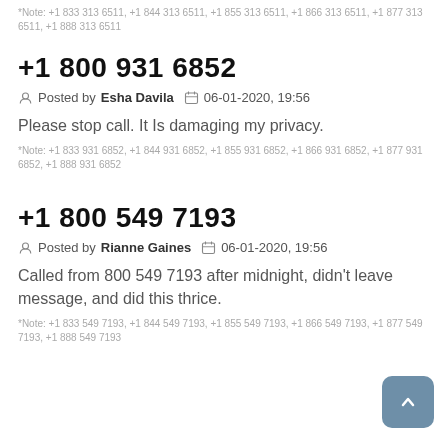*Note: +1 833 313 6511, +1 844 313 6511, +1 855 313 6511, +1 866 313 6511, +1 877 313 6511, +1 888 313 6511
+1 800 931 6852
Posted by Esha Davila   06-01-2020, 19:56
Please stop call. It Is damaging my privacy.
*Note: +1 833 931 6852, +1 844 931 6852, +1 855 931 6852, +1 866 931 6852, +1 877 931 6852, +1 888 931 6852
+1 800 549 7193
Posted by Rianne Gaines   06-01-2020, 19:56
Called from 800 549 7193 after midnight, didn't leave message, and did this thrice.
*Note: +1 833 549 7193, +1 844 549 7193, +1 855 549 7193, +1 866 549 7193, +1 877 549 7193, +1 888 549 7193